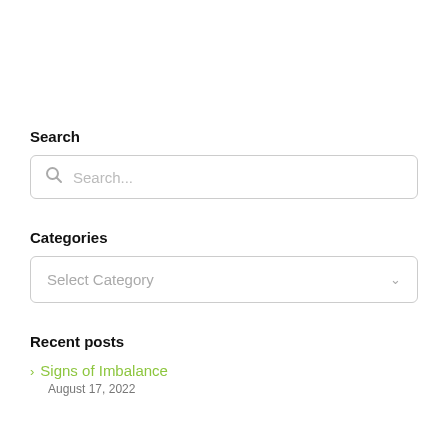Search
[Figure (screenshot): Search input box with magnifying glass icon and placeholder text 'Search...']
Categories
[Figure (screenshot): Dropdown select box with placeholder text 'Select Category' and a chevron arrow]
Recent posts
> Signs of Imbalance
August 17, 2022